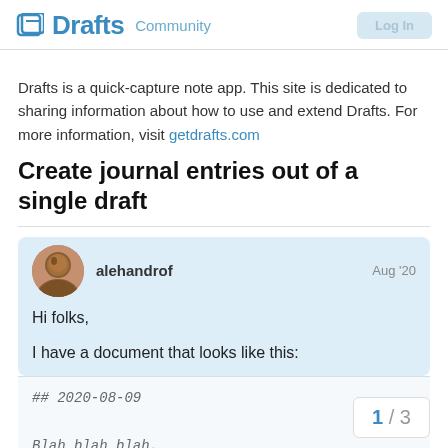Drafts Community
Drafts is a quick-capture note app. This site is dedicated to sharing information about how to use and extend Drafts. For more information, visit getdrafts.com
Create journal entries out of a single draft
alehandrof  Aug '20
Hi folks,
I have a document that looks like this:
## 2020-08-09
Blah blah blah.
1 / 3